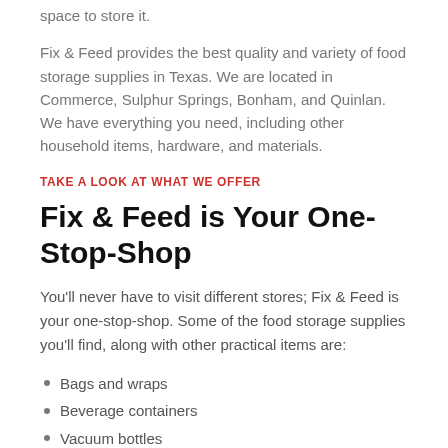space to store it.
Fix & Feed provides the best quality and variety of food storage supplies in Texas. We are located in Commerce, Sulphur Springs, Bonham, and Quinlan. We have everything you need, including other household items, hardware, and materials.
TAKE A LOOK AT WHAT WE OFFER
Fix & Feed is Your One-Stop-Shop
You'll never have to visit different stores; Fix & Feed is your one-stop-shop. Some of the food storage supplies you'll find, along with other practical items are:
Bags and wraps
Beverage containers
Vacuum bottles
Spice racks